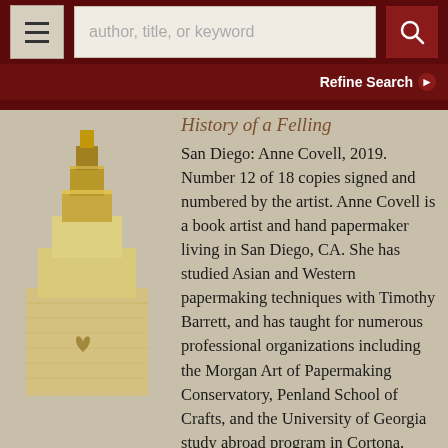author, title, or keyword | Refine Search
[Figure (photo): Close-up photograph of a handmade book or sculptural book object in golden/cream textured paper, showing layered tiered structure with a small heart-shaped cutout detail.]
History of a Felling
San Diego: Anne Covell, 2019. Number 12 of 18 copies signed and numbered by the artist. Anne Covell is a book artist and hand papermaker living in San Diego, CA. She has studied Asian and Western papermaking techniques with Timothy Barrett, and has taught for numerous professional organizations including the Morgan Art of Papermaking Conservatory, Penland School of Crafts, and the University of Georgia study abroad program in Cortona, Italy, among others. Her work has been exhibited internationally and can be seen in a growing list of private collections, special